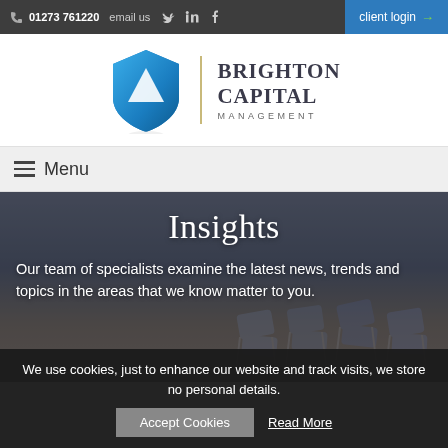01273 761220  email us  [Twitter] [LinkedIn] [Facebook]  client login →
[Figure (logo): Brighton Capital Management logo: blue shield with white triangle and company name]
≡ Menu
Insights
Our team of specialists examine the latest news, trends and topics in the areas that we know matter to you.
We use cookies, just to enhance our website and track visits, we store no personal details.